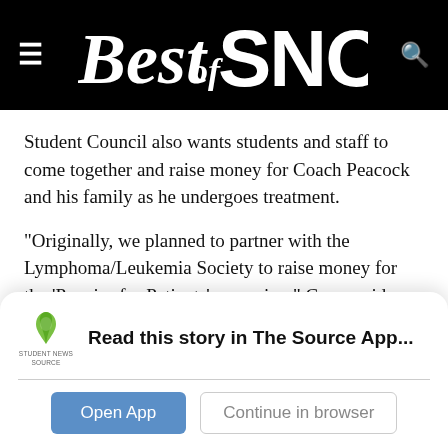Best of SNO
Student Council also wants students and staff to come together and raise money for Coach Peacock and his family as he undergoes treatment.
“Originally, we planned to partner with the Lymphoma/Leukemia Society to raise money for the ‘Pennies for Patients’ campaign,” Carey said. “But then we agreed that the opportunity to directly help the Peacock family was the right thing to do.”
Read this story in The Source App...
Open App
Continue in browser